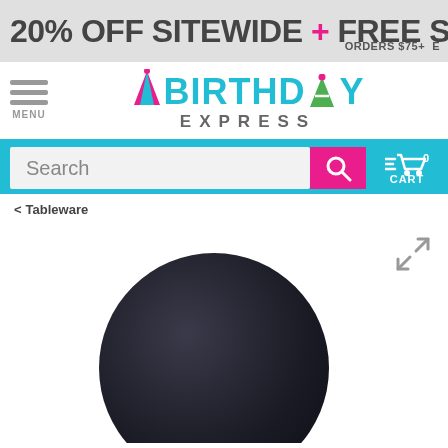20% OFF SITEWIDE + FREE S ORDERS $75+ E
[Figure (logo): Birthday Express logo with party hat icon, hamburger menu icon and MENU label]
[Figure (screenshot): Search bar with Search placeholder text, pink search button with magnifying glass icon, teal cart area showing 0 CART]
< Tableware
[Figure (photo): Dark navy/black round plate product image, partially cropped at bottom]